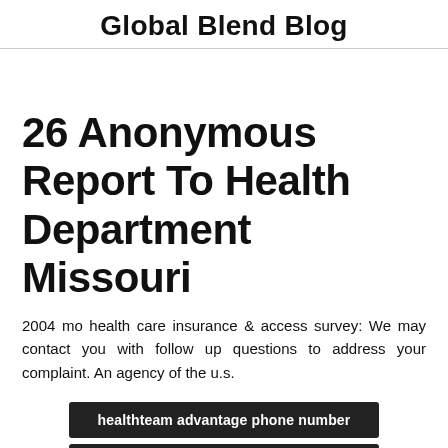Global Blend Blog
26 Anonymous Report To Health Department Missouri
2004 mo health care insurance & access survey: We may contact you with follow up questions to address your complaint. An agency of the u.s.
healthteam advantage phone number
heritage health post falls doctors